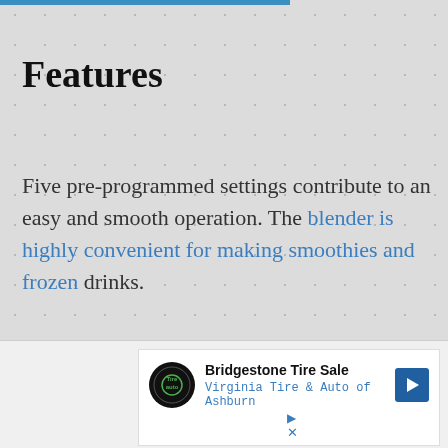Features
Five pre-programmed settings contribute to an easy and smooth operation. The blender is highly convenient for making smoothies and frozen drinks.
[Figure (infographic): Advertisement for Bridgestone Tire Sale featuring Virginia Tire & Auto of Ashburn logo and navigation arrow icon]